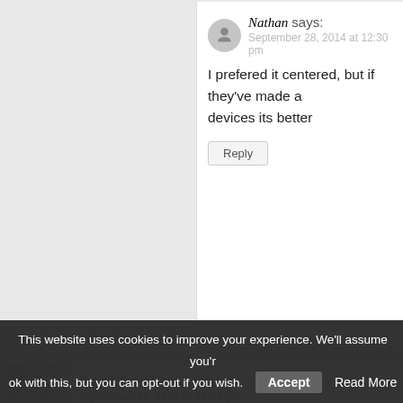Nathan says: September 28, 2014 at 12:30 pm
I prefered it centered, but if they've made a devices its better
Reply
Davo (@moel_bryn) says: September 28, 2014 at 12:04 pm
Really nice job on the site and well pleased to h
Reply
Antonn says: September 28, 2014 at 12:08 pm
This website uses cookies to improve your experience. We'll assume you're ok with this, but you can opt-out if you wish. Accept Read More